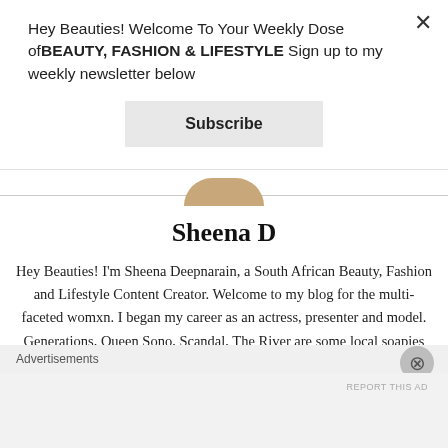Hey Beauties! Welcome To Your Weekly Dose ofBEAUTY, FASHION & LIFESTYLE Sign up to my weekly newsletter below
Subscribe
Sheena D
Hey Beauties! I'm Sheena Deepnarain, a South African Beauty, Fashion and Lifestyle Content Creator. Welcome to my blog for the multi-faceted womxn. I began my career as an actress, presenter and model. Generations, Queen Sono, Scandal, The River are some local soapies I've acted in. I also produced entertainment television shows aimed at pop culture and since taking a few years off to travel, I was inspired to start a blog which subsequently began my career as a content creator where I
Advertisements